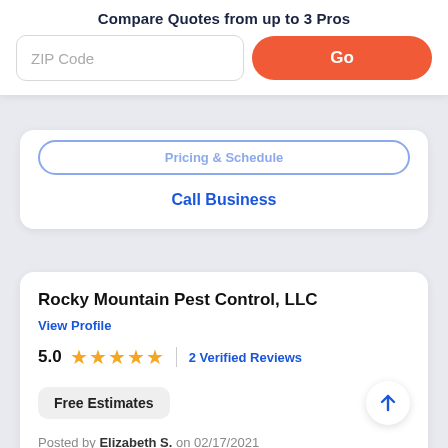Compare Quotes from up to 3 Pros
ZIP Code
Go
Pricing & Schedule
Call Business
Rocky Mountain Pest Control, LLC
View Profile
5.0  2 Verified Reviews
Free Estimates
Posted by Elizabeth S. on 02/17/2021